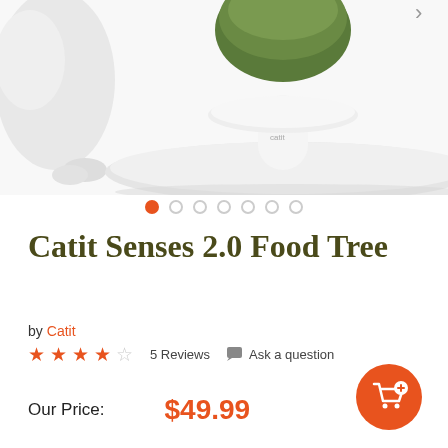[Figure (photo): Product photo showing a Catit white pedestal food tree with green top bowl, with a white fluffy cat reaching toward it on a white background]
• • • • • • •  (carousel dots, first active)
Catit Senses 2.0 Food Tree
by Catit
★★★★☆  5 Reviews   Ask a question
Our Price:   $49.99